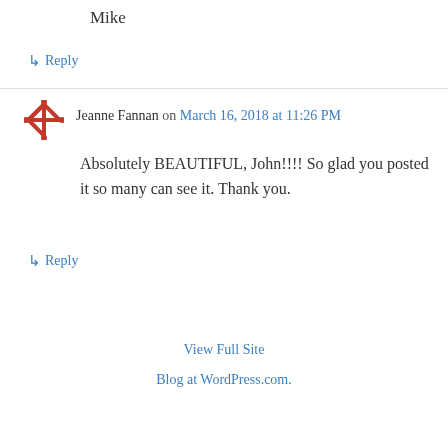Mike
↳ Reply
Jeanne Fannan on March 16, 2018 at 11:26 PM
Absolutely BEAUTIFUL, John!!!! So glad you posted it so many can see it. Thank you.
↳ Reply
View Full Site
Blog at WordPress.com.